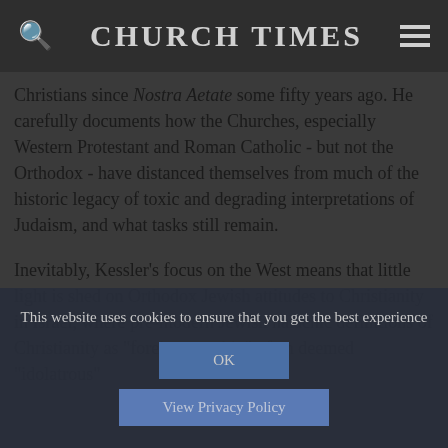CHURCH TIMES
Christians since Nostra Aetate some fifty years ago. He carefully documents how the Churches, especially Western Protestant and Roman Catholic - but not the Orthodox - have distanced themselves from much of the historic legacy of toxic and degrading interpretations of Judaism, and what tasks still remain.
Inevitably, Kessler's focus on the West means that little light is shed on Orthodox Jewish attitudes to Christianity in Israel, where pre-modern Jewish halachic definitions of Christianity as "foreign worship" often deemed "idolatrous"
This website uses cookies to ensure that you get the best experience
OK
View Privacy Policy